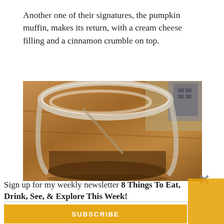Another one of their signatures, the pumpkin muffin, makes its return, with a cream cheese filling and a cinnamon crumble on top.
[Figure (photo): Close-up photo of a clear glass cup containing dark liquid (tea or coffee), placed on a wooden table. A device is partially visible in the background upper right.]
Sign up for my weekly newsletter 8 Things To Eat, Drink, See, & Explore This Week!
YOUR EMAIL ADDRESS
SUBSCRIBE